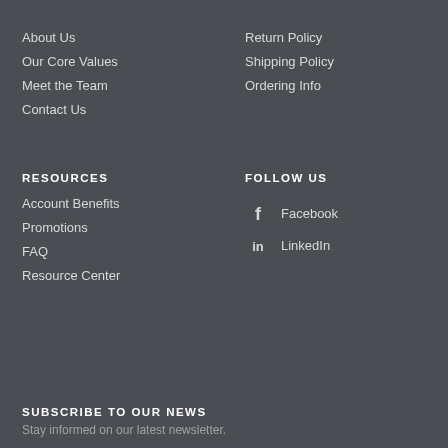About Us
Our Core Values
Meet the Team
Contact Us
Return Policy
Shipping Policy
Ordering Info
RESOURCES
FOLLOW US
Account Benefits
Promotions
FAQ
Resource Center
Facebook
LinkedIn
SUBSCRIBE TO OUR NEWS
Stay informed on our latest newsletter.